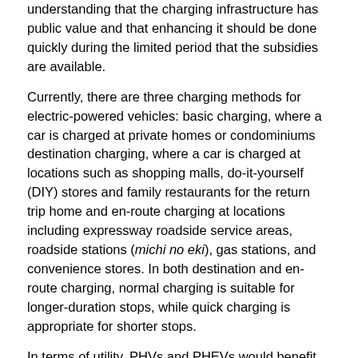understanding that the charging infrastructure has public value and that enhancing it should be done quickly during the limited period that the subsidies are available.
Currently, there are three charging methods for electric-powered vehicles: basic charging, where a car is charged at private homes or condominiums destination charging, where a car is charged at locations such as shopping malls, do-it-yourself (DIY) stores and family restaurants for the return trip home and en-route charging at locations including expressway roadside service areas, roadside stations (michi no eki), gas stations, and convenience stores. In both destination and en-route charging, normal charging is suitable for longer-duration stops, while quick charging is appropriate for shorter stops.
In terms of utility, PHVs and PHEVs would benefit from an expanded charging network because it would maximize these vehicles' EV driving performance and